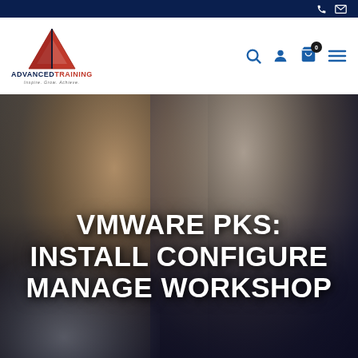Advanced Training navigation bar with phone and email icons, logo, search, user, cart, and menu icons
[Figure (logo): Advanced Training logo: red triangle/arrow shape above text 'ADVANCED TRAINING' with tagline 'Inspire. Grow. Achieve.']
[Figure (photo): Hero banner photo showing two people studying at a laptop, overlaid with large white bold text reading 'VMWARE PKS: INSTALL CONFIGURE MANAGE WORKSHOP']
VMWARE PKS: INSTALL CONFIGURE MANAGE WORKSHOP